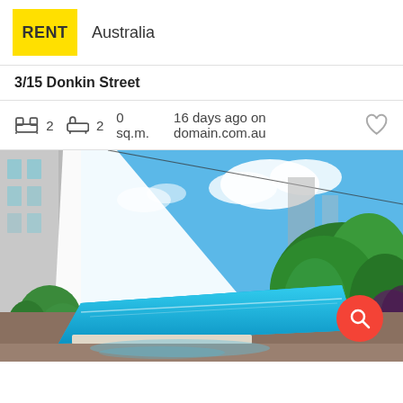RENT Australia
3/15 Donkin Street
2  2  0 sq.m.  16 days ago on domain.com.au
[Figure (photo): Outdoor swimming pool surrounded by tropical plants and a modern apartment building under a bright blue sky, with a red search button overlay in the bottom right corner.]